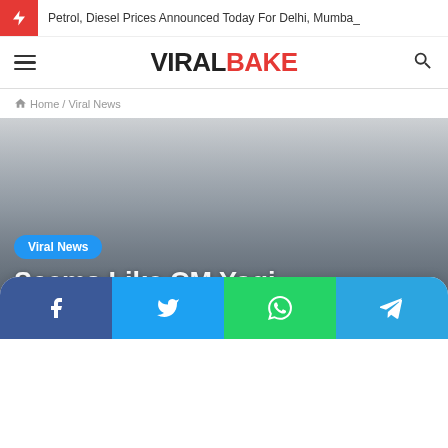Petrol, Diesel Prices Announced Today For Delhi, Mumba_
VIRALBAKE
Home / Viral News
Viral News
Seems Like CM Yogi Adityanath Could't Hold A